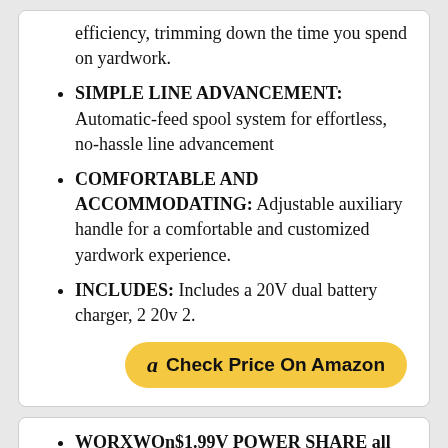efficiency, trimming down the time you spend on yardwork.
SIMPLE LINE ADVANCEMENT: Automatic-feed spool system for effortless, no-hassle line advancement
COMFORTABLE AND ACCOMMODATING: Adjustable auxiliary handle for a comfortable and customized yardwork experience.
INCLUDES: Includes a 20V dual battery charger, 2 20v 2.
Check Price On Amazon
WORXWOn$1.99V POWER SHARE all